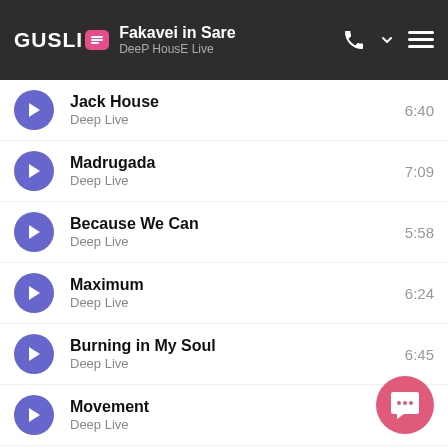Fakavei in Sare | DeeP HousE Live
Jack House | Deep Live | 6:40
Madrugada | Deep Live | 7:09
Because We Can | Deep Live | 5:58
Maximum | Deep Live | 6:24
Burning in My Soul | Deep Live | 6:45
Movement | Deep Live